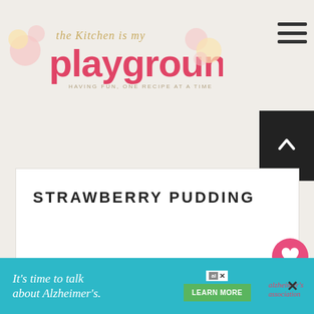the Kitchen is my playground — HAVING FUN, ONE RECIPE AT A TIME
STRAWBERRY PUDDING
[Figure (photo): Photo of strawberry pudding dessert with red strawberry topping on layered cake]
[Figure (photo): What's Next preview thumbnail showing No-Bake Blueberry Y...]
WHAT'S NEXT → No-Bake Blueberry Y...
[Figure (other): Advertisement banner: It's time to talk about Alzheimer's. LEARN MORE — Alzheimer's Association logo]